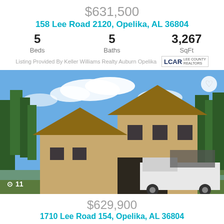$631,500
158 Lee Road 2120, Opelika, AL 36804
5 Beds   5 Baths   3,267 SqFt
Listing Provided By Keller Williams Realty Auburn Opelika
[Figure (photo): Under-construction two-story house with wood sheathing exterior, surrounded by pine trees, with a service truck in foreground. Photo count indicator shows 11 photos.]
$629,900
1710 Lee Road 154, Opelika, AL 36804
5   5   3,145